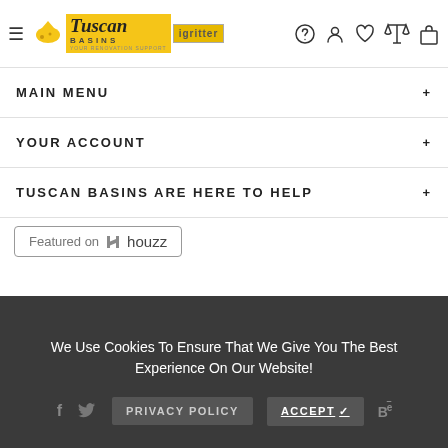[Figure (logo): Tuscan Basins logo with hamburger menu icon and navigation icons (help, account, heart, scale, cart)]
MAIN MENU +
YOUR ACCOUNT +
TUSCAN BASINS ARE HERE TO HELP +
[Figure (logo): Featured on Houzz badge]
We Use Cookies To Ensure That We Give You The Best Experience On Our Website!
PRIVACY POLICY   ACCEPT ✓
[Figure (screenshot): Product thumbnail - rod/bar item]
$ 116.67  $ 88.00
SOLD OUT